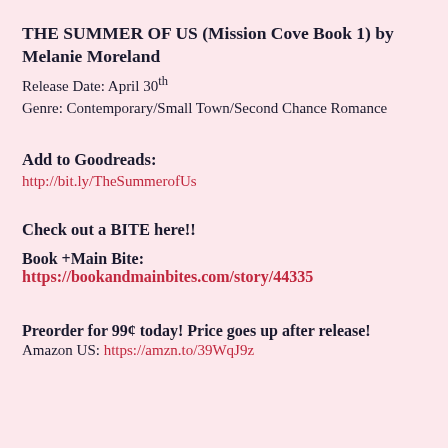THE SUMMER OF US (Mission Cove Book 1) by Melanie Moreland
Release Date: April 30th
Genre: Contemporary/Small Town/Second Chance Romance
Add to Goodreads:
http://bit.ly/TheSummerofUs
Check out a BITE here!!
Book +Main Bite: https://bookandmainbites.com/story/44335
Preorder for 99¢ today! Price goes up after release!
Amazon US: https://amzn.to/39WqJ9z